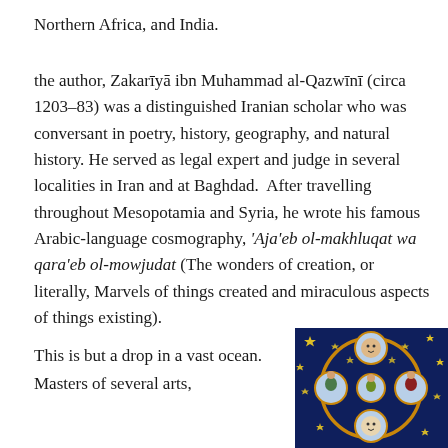Northern Africa, and India.
the author, Zakarīyā ibn Muhammad al-Qazwīnī (circa 1203–83) was a distinguished Iranian scholar who was conversant in poetry, history, geography, and natural history. He served as legal expert and judge in several localities in Iran and at Baghdad. After travelling throughout Mesopotamia and Syria, he wrote his famous Arabic-language cosmography, 'Aja'eb ol-makhluqat wa qara'eb ol-mowjudat (The wonders of creation, or literally, Marvels of things created and miraculous aspects of things existing).
This is but a drop in a vast ocean. Masters of several arts,
[Figure (illustration): An illuminated manuscript illustration on dark blue background showing celestial/cosmographic figures in circular medallions with gold stars scattered throughout, depicting human and celestial figures in a medieval Islamic artistic style.]